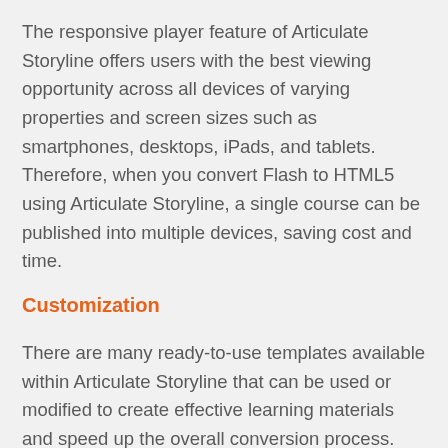The responsive player feature of Articulate Storyline offers users with the best viewing opportunity across all devices of varying properties and screen sizes such as smartphones, desktops, iPads, and tablets. Therefore, when you convert Flash to HTML5 using Articulate Storyline, a single course can be published into multiple devices, saving cost and time.
Customization
There are many ready-to-use templates available within Articulate Storyline that can be used or modified to create effective learning materials and speed up the overall conversion process. These in-built templates come with